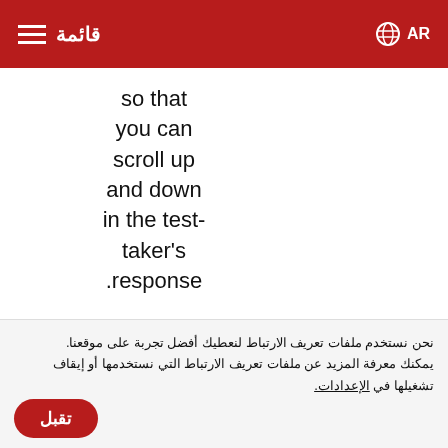قائمة | AR
so that you can scroll up and down in the test-taker's response.
3. Flag the item if it
نحن نستخدم ملفات تعريف الارتباط لنعطيك أفضل تجربة على موقعنا. يمكنك معرفة المزيد عن ملفات تعريف الارتباط التي نستخدمها أو إيقاف تشغيلها في الإعدادات.